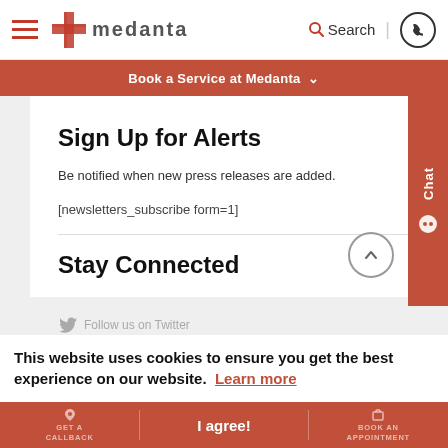Medanta — Search | Phone
Book a Service at Medanta
Sign Up for Alerts
Be notified when new press releases are added.
[newsletters_subscribe form=1]
Stay Connected
This website uses cookies to ensure you get the best experience on our website. Learn more
Follow us on Twitter
GET A CALLBACK | I agree! | BOOK AN APPOINTMENT